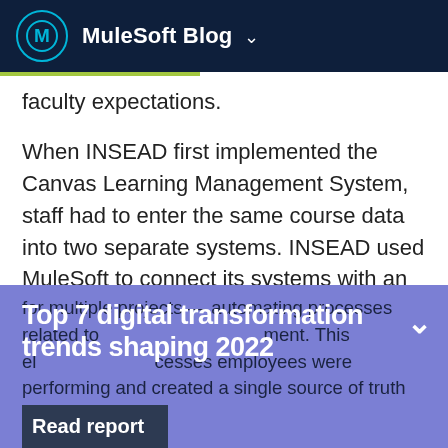MuleSoft Blog
faculty expectations.
When INSEAD first implemented the Canvas Learning Management System, staff had to enter the same course data into two separate systems. INSEAD used MuleSoft to connect its systems with an API-led approach. This enabled the team to reuse a single API for multiple projects — automating processes related to enrollment, course management, and faculty management. This eliminated the manual processes employees were performing and created a single source of truth for student and faculty data.
Top 7 digital transformation trends shaping 2022
Read report